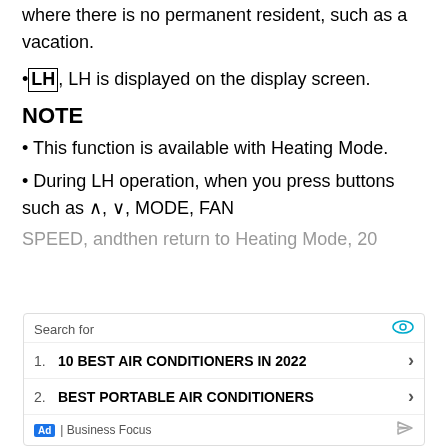where there is no permanent resident, such as a vacation.
•LH, LH is displayed on the display screen.
NOTE
• This function is available with Heating Mode.
• During LH operation, when you press buttons such as ∧, ∨, MODE, FAN SPEED, andthen return to Heating Mode, 20
[Figure (screenshot): Advertisement overlay: Search for — 1. 10 BEST AIR CONDITIONERS IN 2022, 2. BEST PORTABLE AIR CONDITIONERS — Ad | Business Focus]